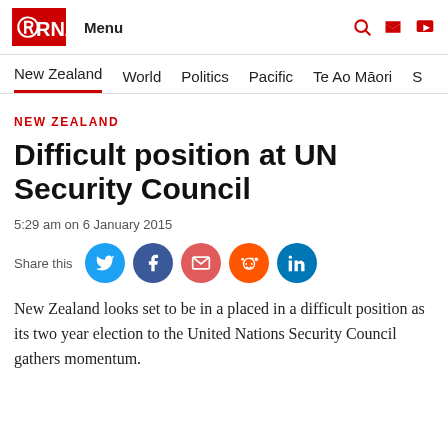RNZ Menu
New Zealand  World  Politics  Pacific  Te Ao Māori  S
NEW ZEALAND
Difficult position at UN Security Council
5:29 am on 6 January 2015
Share this
New Zealand looks set to be in a placed in a difficult position as its two year election to the United Nations Security Council gathers momentum.